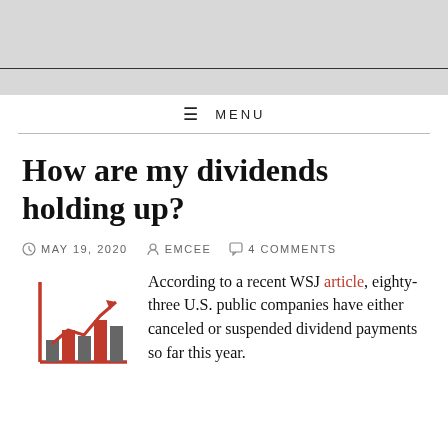How are my dividends holding up?
MAY 19, 2020   EMCEE   4 COMMENTS
[Figure (illustration): Red and gray bar chart icon with upward trending red arrow, representing stock/dividend growth]
According to a recent WSJ article, eighty-three U.S. public companies have either canceled or suspended dividend payments so far this year.